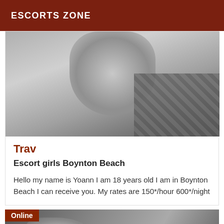ESCORTS ZONE
[Figure (photo): Black and white photo showing a person in a pose, partial body view]
Trav
Escort girls Boynton Beach
Hello my name is Yoann I am 18 years old I am in Boynton Beach I can receive you. My rates are 150*/hour 600*/night
[Figure (photo): Partial photo of a person with bracelet/jewelry on wrist, with Online badge overlay]